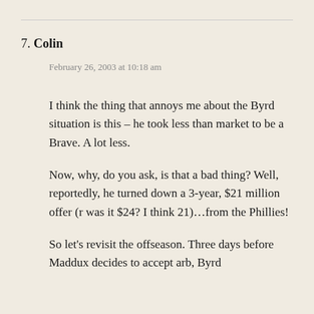7. Colin
February 26, 2003 at 10:18 am
I think the thing that annoys me about the Byrd situation is this – he took less than market to be a Brave. A lot less.
Now, why, do you ask, is that a bad thing? Well, reportedly, he turned down a 3-year, $21 million offer (r was it $24? I think 21)…from the Phillies!
So let's revisit the offseason. Three days before Maddux decides to accept arb, Byrd turns down the offer from the Phillies...